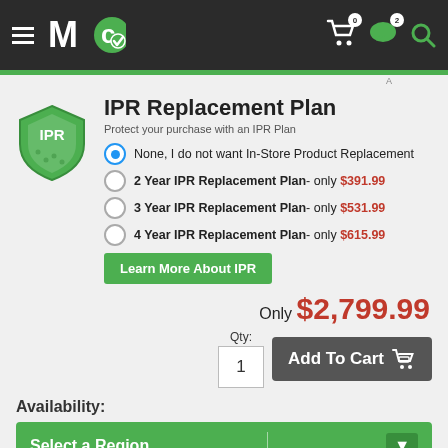Mc logo header with cart (0 items), chat (2), and search icons
IPR Replacement Plan
Protect your purchase with an IPR Plan
None, I do not want In-Store Product Replacement
2 Year IPR Replacement Plan - only $391.99
3 Year IPR Replacement Plan - only $531.99
4 Year IPR Replacement Plan - only $615.99
Learn More About IPR
Only $2,799.99
Qty: 1  Add To Cart
Availability:
Select a Region